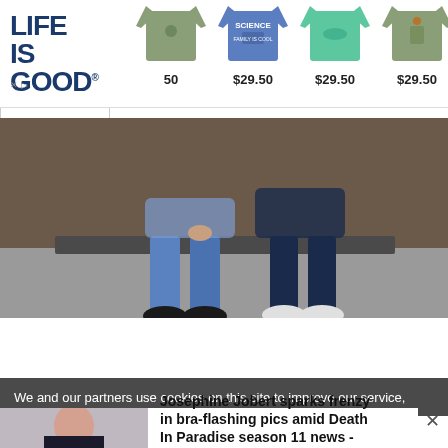[Figure (screenshot): Life Is Good advertisement banner showing logo and t-shirts priced at $29.50 each]
[Figure (photo): Two people sitting side by side, showing only their lower bodies from waist down, wearing jeans and sneakers]
We and our partners use cookies on this site to improve our service,
[Figure (photo): Thumbnail photo of Josephine Jobert]
Josephine Jobert sparks frenzy in bra-flashing pics amid Death In Paradise season 11 news - Hot...